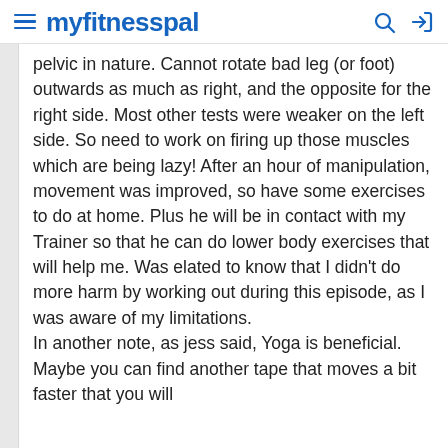myfitnesspal
pelvic in nature. Cannot rotate bad leg (or foot) outwards as much as right, and the opposite for the right side. Most other tests were weaker on the left side. So need to work on firing up those muscles which are being lazy! After an hour of manipulation, movement was improved, so have some exercises to do at home. Plus he will be in contact with my Trainer so that he can do lower body exercises that will help me. Was elated to know that I didn't do more harm by working out during this episode, as I was aware of my limitations.
In another note, as jess said, Yoga is beneficial. Maybe you can find another tape that moves a bit faster that you will